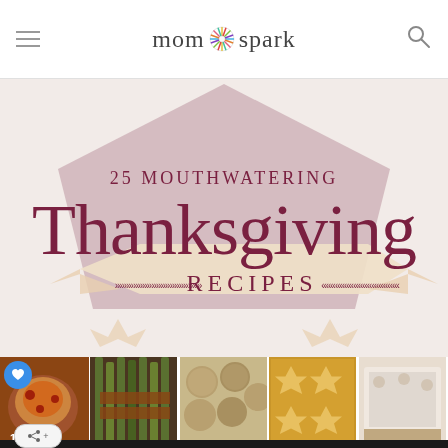mom spark
[Figure (illustration): Decorative Thanksgiving recipe article header with ribbon/badge design showing '25 MOUTHWATERING Thanksgiving RECIPES' text on mauve/blush background with chevron decorations]
[Figure (photo): Grid of food photos showing Thanksgiving recipes including roasted meats, vegetables, breads, and side dishes]